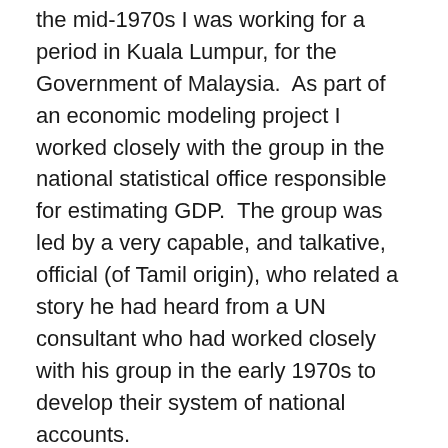the mid-1970s I was working for a period in Kuala Lumpur, for the Government of Malaysia.  As part of an economic modeling project I worked closely with the group in the national statistical office responsible for estimating GDP.  The group was led by a very capable, and talkative, official (of Tamil origin), who related a story he had heard from a UN consultant who had worked closely with his group in the early 1970s to develop their system of national accounts.
The story is of a newly independent country in the mid-1960s (whose name I was either not told or cannot remember), and its estimation of GDP.  An IMF mission had visited it soon after independence, and as is standard, the IMF made forecasts of what GDP growth might be over the next several years.  Such forecasts are necessary in order to come up with estimates for what the